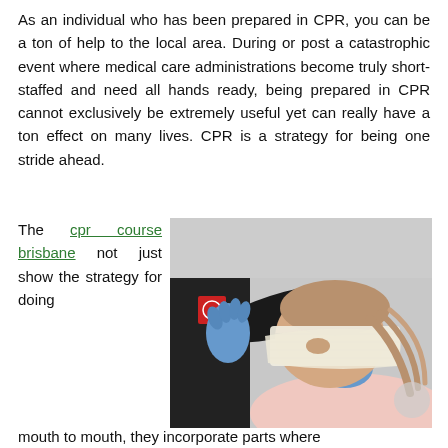As an individual who has been prepared in CPR, you can be a ton of help to the local area. During or post a catastrophic event where medical care administrations become truly short-staffed and need all hands ready, being prepared in CPR cannot exclusively be extremely useful yet can really have a ton effect on many lives. CPR is a strategy for being one stride ahead.
The cpr course brisbane not just show the strategy for doing mouth to mouth, they incorporate parts where
[Figure (photo): A person in a black shirt with a red cross badge applying a bandage wrap to the head/face of another person, who is being held steady. The helper is wearing blue medical gloves.]